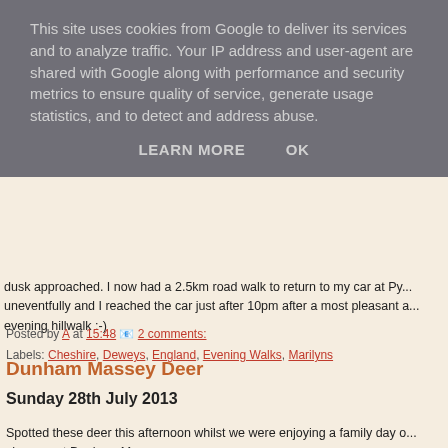This site uses cookies from Google to deliver its services and to analyze traffic. Your IP address and user-agent are shared with Google along with performance and security metrics to ensure quality of service, generate usage statistics, and to detect and address abuse.
LEARN MORE   OK
dusk approached. I now had a 2.5km road walk to return to my car at Py... uneventfully and I reached the car just after 10pm after a most pleasant a... evening hillwalk :-)
Posted by A at 15:48 2 comments:
Labels: Cheshire, Deweys, England, Evening Walks, Marilyns
Dunham Massey Deer
Sunday 28th July 2013
Spotted these deer this afternoon whilst we were enjoying a family day o... showers at Dunham Massey.
[Figure (photo): Brick building at Dunham Massey, a Georgian-style structure with round windows and a slate roof]